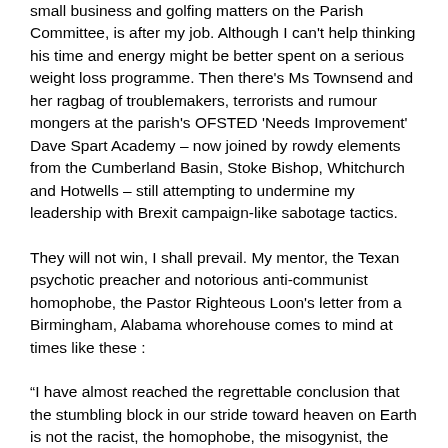small business and golfing matters on the Parish Committee, is after my job. Although I can't help thinking his time and energy might be better spent on a serious weight loss programme. Then there's Ms Townsend and her ragbag of troublemakers, terrorists and rumour mongers at the parish's OFSTED 'Needs Improvement' Dave Spart Academy – now joined by rowdy elements from the Cumberland Basin, Stoke Bishop, Whitchurch and Hotwells – still attempting to undermine my leadership with Brexit campaign-like sabotage tactics.
They will not win, I shall prevail. My mentor, the Texan psychotic preacher and notorious anti-communist homophobe, the Pastor Righteous Loon's letter from a Birmingham, Alabama whorehouse comes to mind at times like these :
“I have almost reached the regrettable conclusion that the stumbling block in our stride toward heaven on Earth is not the racist, the homophobe, the misogynist, the conservative or the free market liberal but the leftie troublemaker- often the